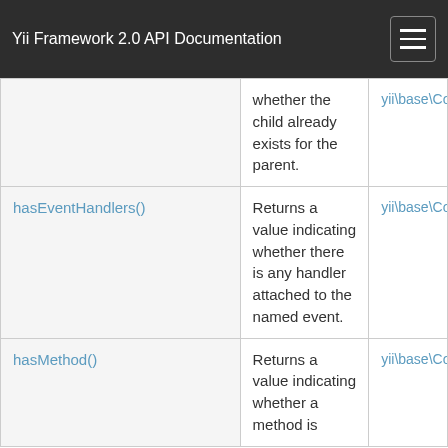Yii Framework 2.0 API Documentation
| Method | Description | Defined By |
| --- | --- | --- |
|  | whether the child already exists for the parent. | yii\base\Co |
| hasEventHandlers() | Returns a value indicating whether there is any handler attached to the named event. | yii\base\Co |
| hasMethod() | Returns a value indicating whether a method is | yii\base\Co |